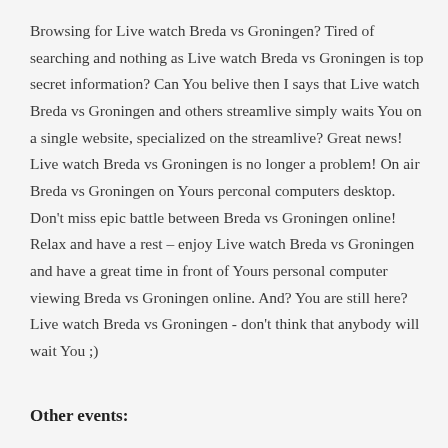Browsing for Live watch Breda vs Groningen? Tired of searching and nothing as Live watch Breda vs Groningen is top secret information? Can You belive then I says that Live watch Breda vs Groningen and others streamlive simply waits You on a single website, specialized on the streamlive? Great news! Live watch Breda vs Groningen is no longer a problem! On air Breda vs Groningen on Yours perconal computers desktop. Don't miss epic battle between Breda vs Groningen online! Relax and have a rest – enjoy Live watch Breda vs Groningen and have a great time in front of Yours personal computer viewing Breda vs Groningen online. And? You are still here? Live watch Breda vs Groningen - don't think that anybody will wait You ;)
Other events: